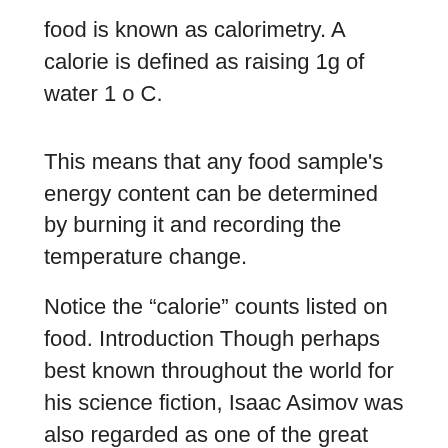food is known as calorimetry. A calorie is defined as raising 1g of water 1 o C.
This means that any food sample's energy content can be determined by burning it and recording the temperature change.
Notice the “calorie” counts listed on food. Introduction Though perhaps best known throughout the world for his science fiction, Isaac Asimov was also regarded as one of the great explainers of science. Many students find essay writing to be an especially daunting task.
Depending on the essay topic, research can take anywhere from a few hours to several days and. Energy